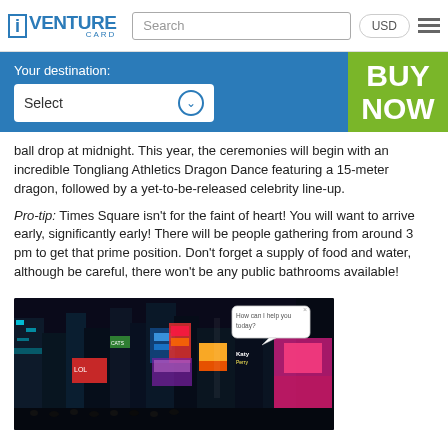[Figure (logo): iVenture Card logo with blue 'i' in a box and blue VENTURE text, CARD subtitle]
Search
USD
Your destination:
Select
BUY NOW
ball drop at midnight. This year, the ceremonies will begin with an incredible Tongliang Athletics Dragon Dance featuring a 15-meter dragon, followed by a yet-to-be-released celebrity line-up.
Pro-tip: Times Square isn’t for the faint of heart! You will want to arrive early, significantly early! There will be people gathering from around 3 pm to get that prime position. Don’t forget a supply of food and water, although be careful, there won’t be any public bathrooms available!
[Figure (photo): Night photo of Times Square, New York City, with colorful LED billboards and crowds. A chat bubble overlay reads 'How can I help you today?']